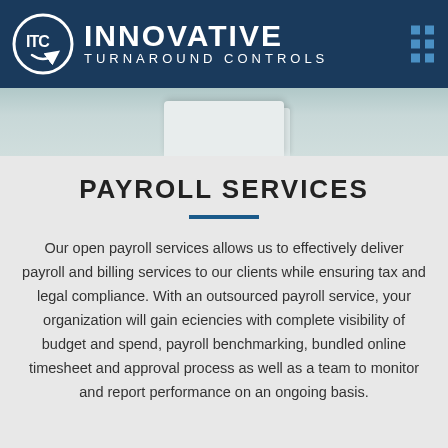[Figure (logo): ITC Innovative Turnaround Controls logo on dark navy blue header bar with decorative blue dots on the right side]
[Figure (photo): Photo band showing papers/documents on a desk surface, muted teal/grey tones]
PAYROLL SERVICES
Our open payroll services allows us to effectively deliver payroll and billing services to our clients while ensuring tax and legal compliance. With an outsourced payroll service, your organization will gain efficiencies with complete visibility of budget and spend, payroll benchmarking, bundled online timesheet and approval process as well as a team to monitor and report performance on an ongoing basis.